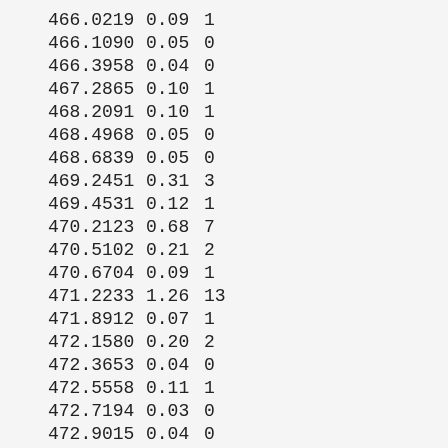| 466.0219 | 0.09 | 1 |
| 466.1090 | 0.05 | 0 |
| 466.3958 | 0.04 | 0 |
| 467.2865 | 0.10 | 1 |
| 468.2091 | 0.10 | 1 |
| 468.4968 | 0.05 | 0 |
| 468.6839 | 0.05 | 0 |
| 469.2451 | 0.31 | 3 |
| 469.4531 | 0.12 | 1 |
| 470.2123 | 0.68 | 7 |
| 470.5102 | 0.21 | 2 |
| 470.6704 | 0.09 | 1 |
| 471.2233 | 1.26 | 13 |
| 471.8912 | 0.07 | 1 |
| 472.1580 | 0.20 | 2 |
| 472.3653 | 0.04 | 0 |
| 472.5558 | 0.11 | 1 |
| 472.7194 | 0.03 | 0 |
| 472.9015 | 0.04 | 0 |
| 473.0828 | 0.12 | 1 |